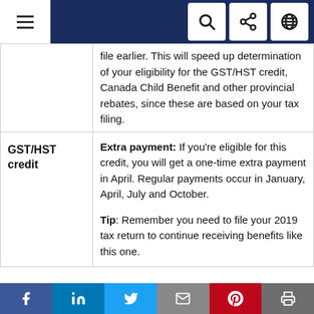Navigation bar with menu, search, share, and language icons
| Category | Details |
| --- | --- |
|  | file earlier. This will speed up determination of your eligibility for the GST/HST credit, Canada Child Benefit and other provincial rebates, since these are based on your tax filing. |
| GST/HST credit | Extra payment: If you’re eligible for this credit, you will get a one-time extra payment in April. Regular payments occur in January, April, July and October.

Tip: Remember you need to file your 2019 tax return to continue receiving benefits like this one. |
Share bar: Facebook, LinkedIn, Twitter, Email, Pinterest, Print